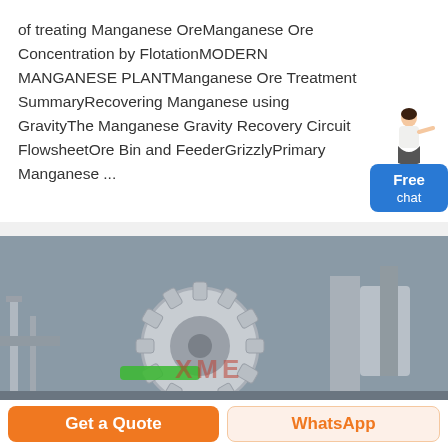of treating Manganese OreManganese Ore Concentration by FlotationMODERN MANGANESE PLANTManganese Ore Treatment SummaryRecovering Manganese using GravityThe Manganese Gravity Recovery Circuit FlowsheetOre Bin and FeederGrizzlyPrimary Manganese ...
[Figure (illustration): Chat widget with a woman figure pointing and a blue button labeled 'Free chat']
[Figure (photo): Industrial machinery photo showing a large gear wheel and mining/processing equipment with XME branding watermark]
Get a Quote
WhatsApp